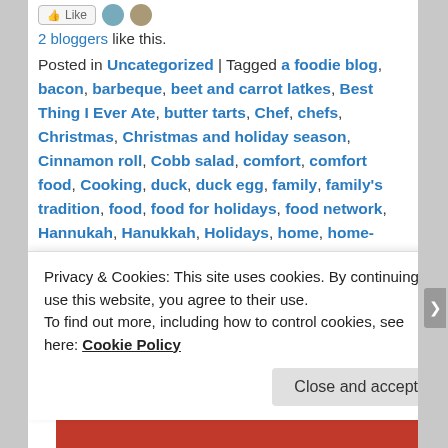2 bloggers like this.
Posted in Uncategorized | Tagged a foodie blog, bacon, barbeque, beet and carrot latkes, Best Thing I Ever Ate, butter tarts, Chef, chefs, Christmas, Christmas and holiday season, Cinnamon roll, Cobb salad, comfort, comfort food, Cooking, duck, duck egg, family, family's tradition, food, food for holidays, food network, Hannukah, Hanukkah, Holidays, home, home-cooking, Ina Garten, joy, love, Nordstrom, pasta, Peking duck, pork roast, potato pancakes, scrambled eggs, seafood, tradition, traditions, waffles | Leave a reply
My Gift Wish List
Privacy & Cookies: This site uses cookies. By continuing to use this website, you agree to their use. To find out more, including how to control cookies, see here: Cookie Policy